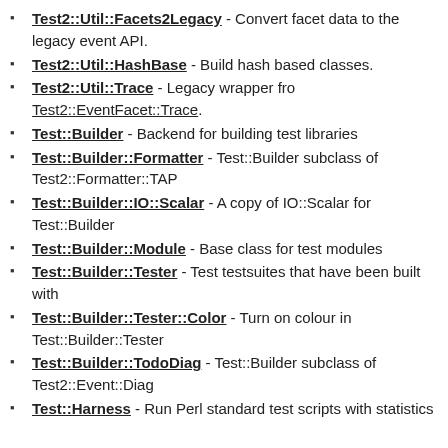Test2::Util::Facets2Legacy - Convert facet data to the legacy event API.
Test2::Util::HashBase - Build hash based classes.
Test2::Util::Trace - Legacy wrapper fro Test2::EventFacet::Trace.
Test::Builder - Backend for building test libraries
Test::Builder::Formatter - Test::Builder subclass of Test2::Formatter::TAP
Test::Builder::IO::Scalar - A copy of IO::Scalar for Test::Builder
Test::Builder::Module - Base class for test modules
Test::Builder::Tester - Test testsuites that have been built with
Test::Builder::Tester::Color - Turn on colour in Test::Builder::Tester
Test::Builder::TodoDiag - Test::Builder subclass of Test2::Event::Diag
Test::Harness - Run Perl standard test scripts with statistics